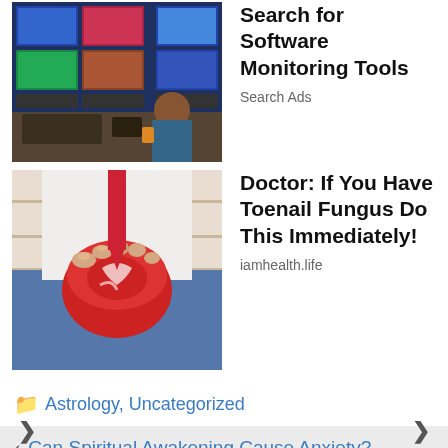[Figure (photo): Photo of a person working at a multi-monitor broadcasting/control room setup with multiple screens showing video feeds]
Search for Software Monitoring Tools
Search Ads
[Figure (photo): Photo of a person holding a foot with toenail fungus treatment]
Doctor: If You Have Toenail Fungus Do This Immediately!
iamhealth.life
Astrology, Uncategorized
Can Spiritual Awakening Cause Anxiety?
Is Spiritual Awakening A Sin?